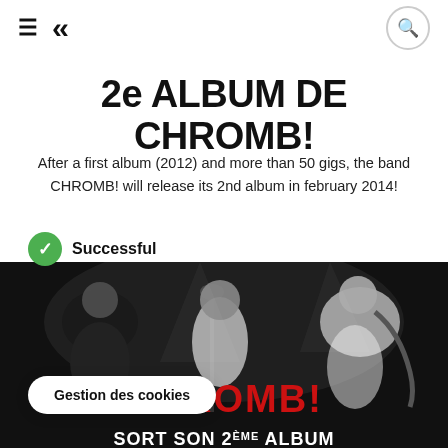≡ << [search icon]
2e ALBUM DE CHROMB!
After a first album (2012) and more than 50 gigs, the band CHROMB! will release its 2nd album in february 2014!
Successful
[Figure (photo): Black and white live photo of the band CHROMB! performing on stage with musicians playing guitar and saxophone, with red CHROMB! logo text and 'SORT SON 2ÈME ALBUM' text at the bottom]
Gestion des cookies